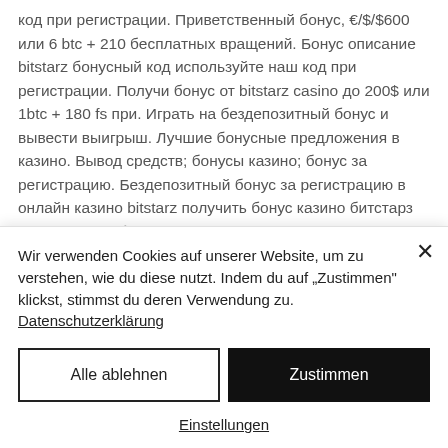код при регистрации. Приветственный бонус, €/$/$600 или 6 btc + 210 бесплатных вращений. Бонус описание bitstarz бонусный код используйте наш код при регистрации. Получи бонус от bitstarz casino до 200$ или 1btc + 180 fs при. Играть на бездепозитный бонус и вывести выигрыш. Лучшие бонусные предложения в казино. Вывод средств; бонусы казино; бонус за регистрацию. Бездепозитный бонус за регистрацию в онлайн казино bitstarz получить бонус казино битстарз промо-код на бонус 20 фриспинов в
Wir verwenden Cookies auf unserer Website, um zu verstehen, wie du diese nutzt. Indem du auf „Zustimmen" klickst, stimmst du deren Verwendung zu. Datenschutzerklärung
Alle ablehnen
Zustimmen
Einstellungen